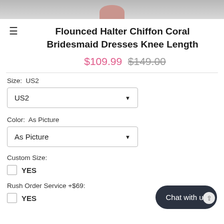[Figure (photo): Top portion of a product photo showing a coral bridesmaid dress on a model, cropped at the top]
Flounced Halter Chiffon Coral Bridesmaid Dresses Knee Length
$109.99 $149.00
Size:  US2
US2 dropdown selector
Color:  As Picture
As Picture dropdown selector
Custom Size:
YES
Rush Order Service +$69:
YES
Chat with us